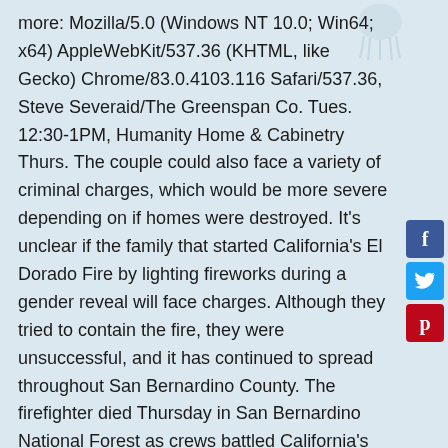more: Mozilla/5.0 (Windows NT 10.0; Win64; x64) AppleWebKit/537.36 (KHTML, like Gecko) Chrome/83.0.4103.116 Safari/537.36, Steve Severaid/The Greenspan Co. Tues. 12:30-1PM, Humanity Home & Cabinetry Thurs. The couple could also face a variety of criminal charges, which would be more severe depending on if homes were destroyed. It's unclear if the family that started California's El Dorado Fire by lighting fireworks during a gender reveal will face charges. Although they tried to contain the fire, they were unsuccessful, and it has continued to spread throughout San Bernardino County. The firefighter died Thursday in San Bernardino National Forest as crews battled California's El Dorado Fire ... name of the firefighter until family members are notified. Noon-1PM, New Breonna Taylor Sculpture To Be Made Of Bronze, More Details Surrounding Deadly Christmas Eve Crash Released, Sonoma County Composer Passes Away At